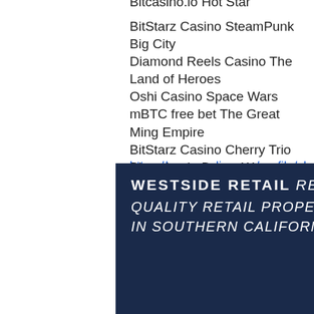Bitcasino.io Hot Star
BitStarz Casino SteamPunk Big City
Diamond Reels Casino The Land of Heroes
Oshi Casino Space Wars
mBTC free bet The Great Ming Empire
BitStarz Casino Cherry Trio
Bitcasino.io Drone Wars
https://zeevmedia.com/profile/clinkhongaj/profile
https://www.uulagshearts.com/profile/rohlsteubeo/profile
https://af.nelsbabies.com/profile/karampapikb/profile
https://www.delasalletutoring.com/profile/themotcomarr/profile
[Figure (logo): Westside Retail banner — dark navy background with text: WESTSIDE RETAIL REPRESENTING QUALITY RETAIL PROPERTIES & RETAILERS IN SOUTHERN CALIFORNIA!]